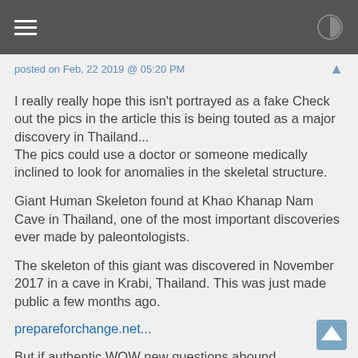posted on Feb, 22 2019 @ 05:20 PM
I really really hope this isn't portrayed as a fake Check out the pics in the article this is being touted as a major discovery in Thailand...
The pics could use a doctor or someone medically inclined to look for anomalies in the skeletal structure.
Giant Human Skeleton found at Khao Khanap Nam Cave in Thailand, one of the most important discoveries ever made by paleontologists.
The skeleton of this giant was discovered in November 2017 in a cave in Krabi, Thailand. This was just made public a few months ago.
prepareforchange.net...
But if authentic WOW new questions abound demanding answers